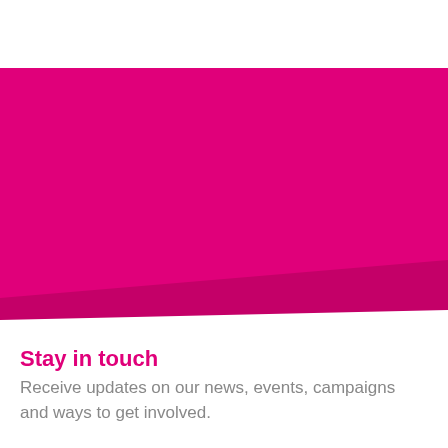[Figure (illustration): Large magenta/pink rectangular banner with a diagonal bottom-right tail effect, serving as a decorative background element]
Stay in touch
Receive updates on our news, events, campaigns and ways to get involved.